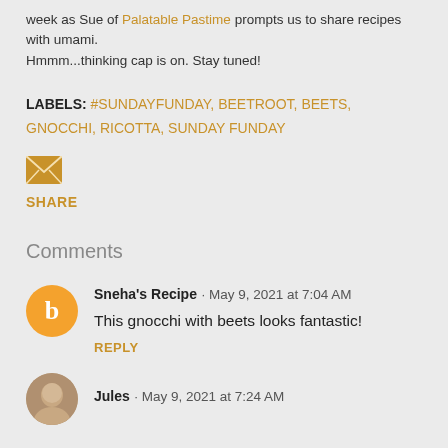week as Sue of Palatable Pastime prompts us to share recipes with umami. Hmmm...thinking cap is on. Stay tuned!
LABELS: #SUNDAYFUNDAY, BEETROOT, BEETS, GNOCCHI, RICOTTA, SUNDAY FUNDAY
[Figure (other): Email share icon (envelope icon in gold/yellow color)]
SHARE
Comments
Sneha's Recipe · May 9, 2021 at 7:04 AM
This gnocchi with beets looks fantastic!
REPLY
Jules · May 9, 2021 at 7:24 AM